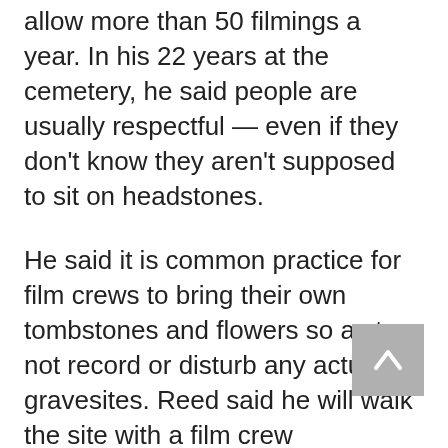of the cemetery, said they probably allow more than 50 filmings a year. In his 22 years at the cemetery, he said people are usually respectful — even if they don't know they aren't supposed to sit on headstones.
He said it is common practice for film crews to bring their own tombstones and flowers so as to not record or disturb any actual gravesites. Reed said he will walk the site with a film crew beforehand to see if they need trees limbed or bushes trimmed to get equipment in.
Oakland has hosted large-scale productions, he said, like in 2013 when "Fast and Furious 7" filmed a funeral scene there, and for T.I...